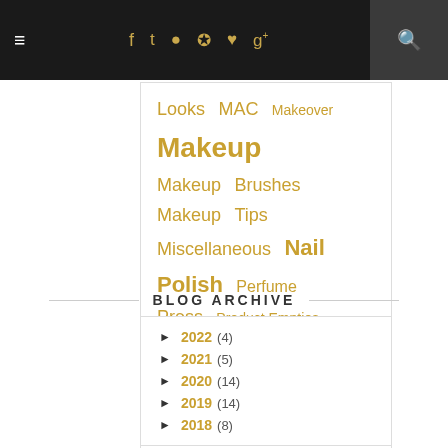Navigation bar with hamburger menu, social icons (f, twitter, instagram, pinterest, heart, g+), and search
Looks  MAC  Makeover  Makeup  Makeup Brushes  Makeup Tips  Miscellaneous  Nail Polish  Perfume  Press  Product Empties  Random Stuff  Revlon  Sigma Beauty  Skin care  skincare
BLOG ARCHIVE
► 2022 (4)
► 2021 (5)
► 2020 (14)
► 2019 (14)
► 2018 (8)